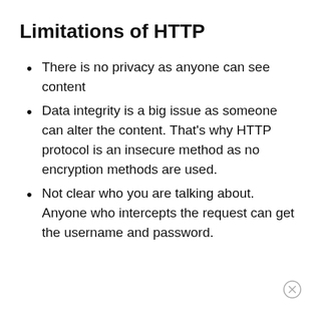Limitations of HTTP
There is no privacy as anyone can see content
Data integrity is a big issue as someone can alter the content. That's why HTTP protocol is an insecure method as no encryption methods are used.
Not clear who you are talking about. Anyone who intercepts the request can get the username and password.